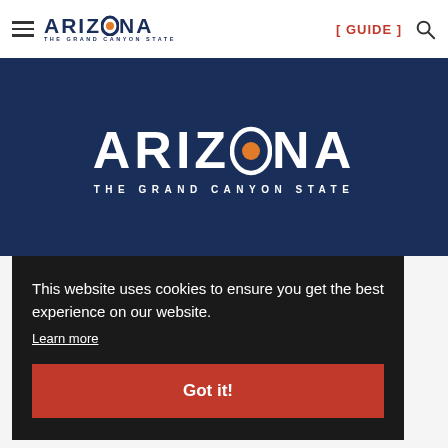ARIZONA THE GRAND CANYON STATE — [ GUIDE ] navigation header
[Figure (logo): Arizona The Grand Canyon State logo on dark blue background hero banner]
This website uses cookies to ensure you get the best experience on our website.
Learn more
Got it!